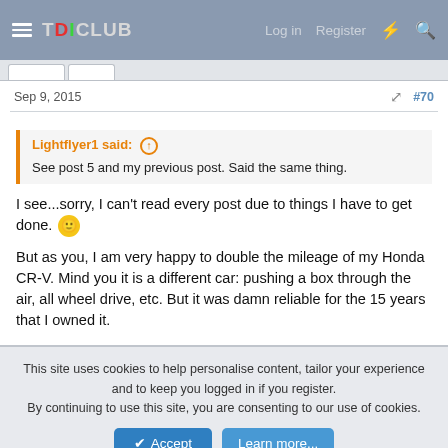TDICLUB — Log in  Register
Sep 9, 2015   #70
Lightflyer1 said: ↗
See post 5 and my previous post. Said the same thing.
I see...sorry, I can't read every post due to things I have to get done. 🙂
But as you, I am very happy to double the mileage of my Honda CR-V. Mind you it is a different car: pushing a box through the air, all wheel drive, etc. But it was damn reliable for the 15 years that I owned it.
This site uses cookies to help personalise content, tailor your experience and to keep you logged in if you register.
By continuing to use this site, you are consenting to our use of cookies.